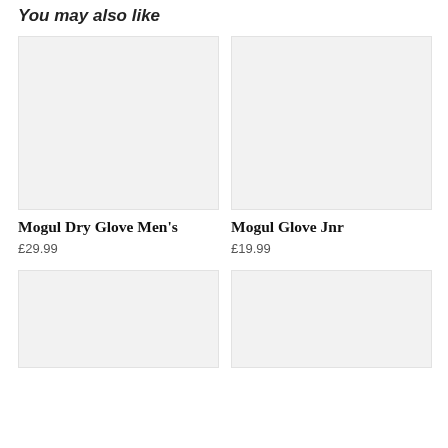You may also like
[Figure (photo): Product image placeholder for Mogul Dry Glove Men's - light grey rectangle]
Mogul Dry Glove Men's
£29.99
[Figure (photo): Product image placeholder for Mogul Glove Jnr - light grey rectangle]
Mogul Glove Jnr
£19.99
[Figure (photo): Product image placeholder (bottom left) - light grey rectangle]
[Figure (photo): Product image placeholder (bottom right) - light grey rectangle]